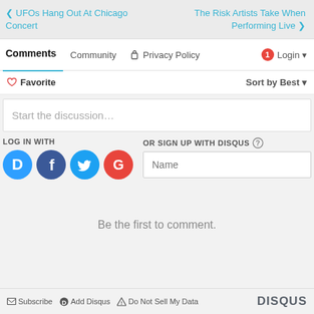❮ UFOs Hang Out At Chicago Concert | The Risk Artists Take When Performing Live ❯
Comments  Community  🔒 Privacy Policy  1 Login ▾
♡ Favorite   Sort by Best ▾
Start the discussion...
LOG IN WITH
OR SIGN UP WITH DISQUS ?
Name
Be the first to comment.
✉ Subscribe  D Add Disqus  ⚠ Do Not Sell My Data   DISQUS